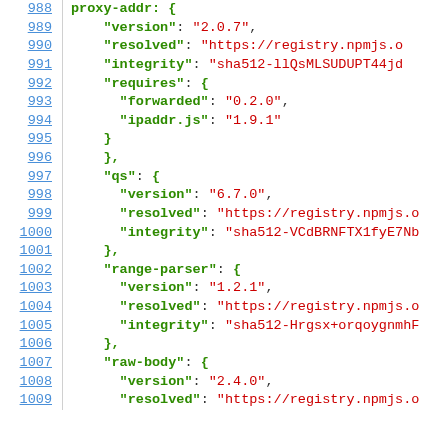Code listing lines 988-1009, JSON/lock file content showing proxy-addr, qs, range-parser, raw-body package entries